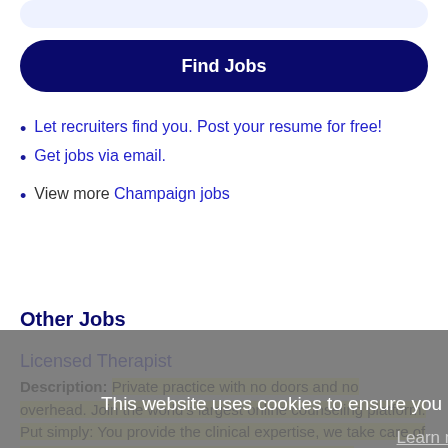[Figure (screenshot): Partial search input bar at top of page]
Find Jobs
Let recruiters find you. Post your resume for free!
Get jobs via email.
View more Champaign jobs
Other Jobs
Licensed Therapist
Description: Private practice with no doors and no overhead. Join the world's largest online counseling platform. Put simply: You provide the clinical expertise, we take care of everything else. And we mean everything (more...)
This website uses cookies to ensure you get the best experience on our website.
Learn more
Got it!